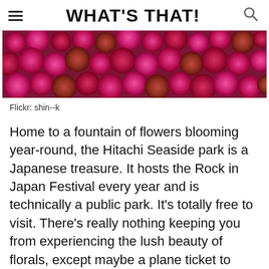WHAT'S THAT!
[Figure (photo): Close-up photograph of dense red/magenta fuzzy round flowers (likely Celosia or similar) filling the frame, photographed from above.]
Flickr: shin--k
Home to a fountain of flowers blooming year-round, the Hitachi Seaside park is a Japanese treasure. It hosts the Rock in Japan Festival every year and is technically a public park. It's totally free to visit. There's really nothing keeping you from experiencing the lush beauty of florals, except maybe a plane ticket to Japan.